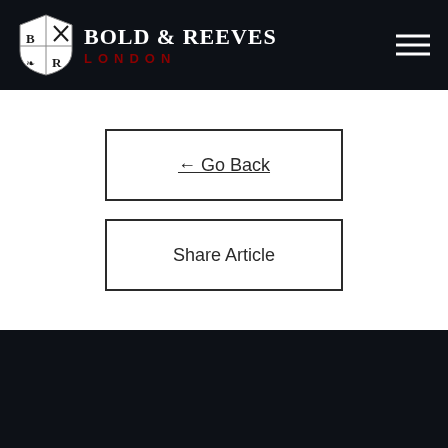Bold & Reeves London
← Go Back
Share Article